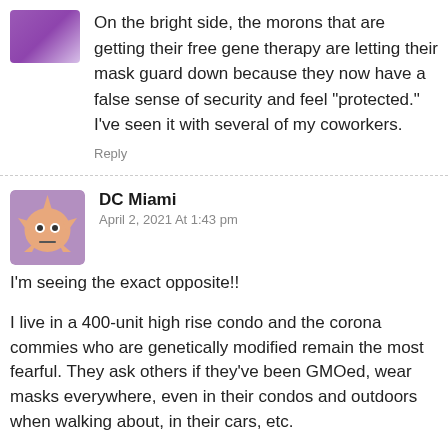[Figure (photo): Purple/violet colored avatar icon cropped at top]
On the bright side, the morons that are getting their free gene therapy are letting their mask guard down because they now have a false sense of security and feel “protected.” I’ve seen it with several of my coworkers.
Reply
[Figure (illustration): Peach/orange star-shaped monster avatar with eyes and a flat mouth on a purple background]
DC Miami
April 2, 2021 At 1:43 pm
I’m seeing the exact opposite!!
I live in a 400-unit high rise condo and the corona commies who are genetically modified remain the most fearful. They ask others if they’ve been GMOed, wear masks everywhere, even in their condos and outdoors when walking about, in their cars, etc.